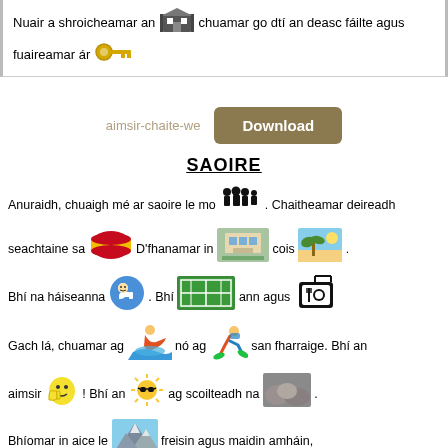Nuair a shroicheamar an [hotel icon] chuamar go dtí an deasc fáilte agus fuaireamar ár [key icon]
aimsir-chaite-we  Download
SAOIRE
Anuraidh, chuaigh mé ar saoire le mo [family icon]. Chaitheamar deireadh seachtaine sa [Spain flag]. D'fhanamar in [hotel photo] cois [beach photo].
Bhí na háiseanna [swimming icon]. Bhí [tennis court icon] ann agus [restaurant icon]
Gach lá, chuamar ag [surfing icon] nó ag [snorkeling icon] san fharraige. Bhí an aimsir [lemon icon]! Bhí an [sun icon] ag scoilteadh na [rocks photo].
Bhíomar in aice le [mountains icon] freisin agus maidin amháin,